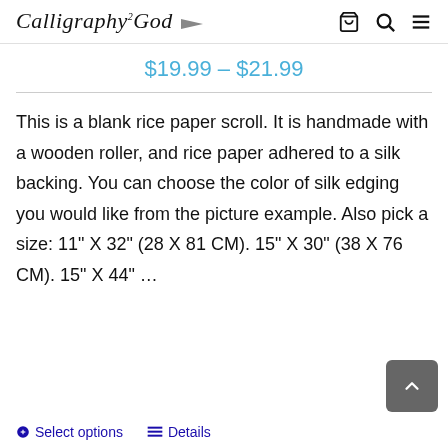Calligraphy 2 God
$19.99 – $21.99
This is a blank rice paper scroll. It is handmade with a wooden roller, and rice paper adhered to a silk backing. You can choose the color of silk edging you would like from the picture example. Also pick a size: 11" X 32" (28 X 81 CM). 15" X 30" (38 X 76 CM). 15" X 44" …
Select options
Details